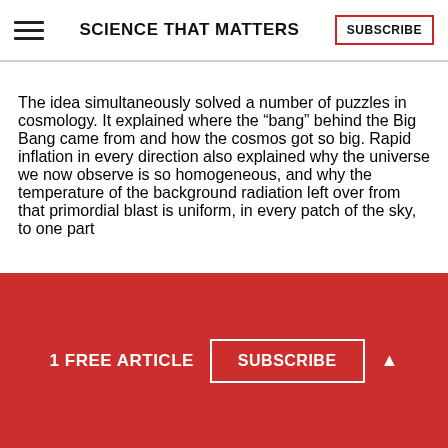SCIENCE THAT MATTERS
The idea simultaneously solved a number of puzzles in cosmology. It explained where the “bang” behind the Big Bang came from and how the cosmos got so big. Rapid inflation in every direction also explained why the universe we now observe is so homogeneous, and why the temperature of the background radiation left over from that primordial blast is uniform, in every patch of the sky, to one part
1 FREE ARTICLE  SUBSCRIBE